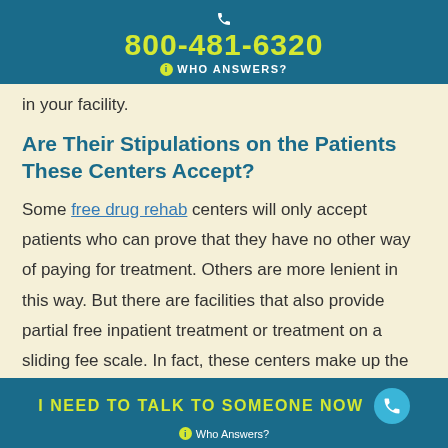800-481-6320 WHO ANSWERS?
in your facility.
Are Their Stipulations on the Patients These Centers Accept?
Some free drug rehab centers will only accept patients who can prove that they have no other way of paying for treatment. Others are more lenient in this way. But there are facilities that also provide partial free inpatient treatment or treatment on a sliding fee scale. In fact, these centers make up the majority of substance abuse treatment facilities, according to
I NEED TO TALK TO SOMEONE NOW Who Answers?